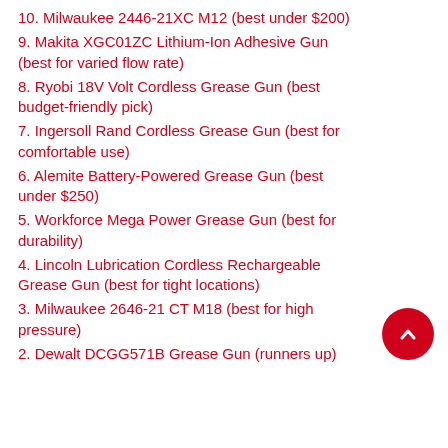10. Milwaukee 2446-21XC M12 (best under $200)
9. Makita XGC01ZC Lithium-Ion Adhesive Gun (best for varied flow rate)
8. Ryobi 18V Volt Cordless Grease Gun (best budget-friendly pick)
7. Ingersoll Rand Cordless Grease Gun (best for comfortable use)
6. Alemite Battery-Powered Grease Gun (best under $250)
5. Workforce Mega Power Grease Gun (best for durability)
4. Lincoln Lubrication Cordless Rechargeable Grease Gun (best for tight locations)
3. Milwaukee 2646-21 CT M18 (best for high pressure)
2. Dewalt DCGG571B Grease Gun (runners up)